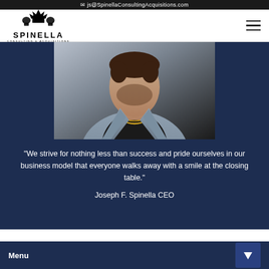js@SpinellaConsultingAcquisitions.com
[Figure (logo): Spinella Consulting & Acquisitions logo with crown, lions, and cityscape above the company name]
[Figure (photo): Photograph of Joseph F. Spinella, CEO, wearing a gray blazer, black shirt, and gold chain necklace]
“We strive for nothing less than success and pride ourselves in our business model that everyone walks away with a smile at the closing table.”
Joseph F. Spinella CEO
Menu